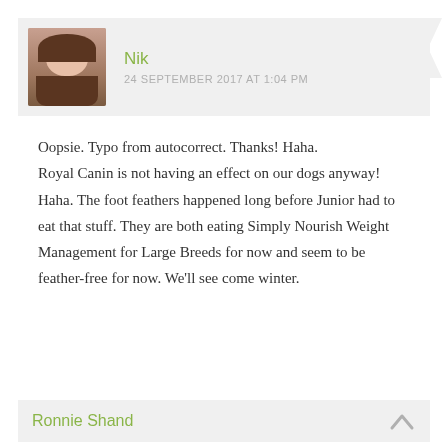Nik
24 SEPTEMBER 2017 AT 1:04 PM
Oopsie. Typo from autocorrect. Thanks! Haha.
Royal Canin is not having an effect on our dogs anyway! Haha. The foot feathers happened long before Junior had to eat that stuff. They are both eating Simply Nourish Weight Management for Large Breeds for now and seem to be feather-free for now. We'll see come winter.
Ronnie Shand